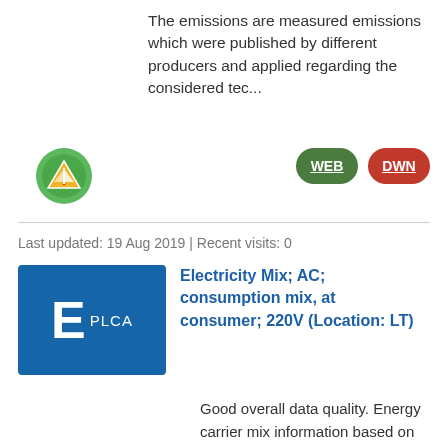The emissions are measured emissions which were published by different producers and applied regarding the considered tec...
[Figure (logo): Green circular icon with a warning/alert symbol inside]
[Figure (other): Green pill button labeled WEB with underline]
[Figure (other): Red pill button labeled DWN with underline]
Last updated: 19 Aug 2019 | Recent visits: 0
[Figure (other): Blue rectangle icon with large E and PLCA label]
Electricity Mix; AC; consumption mix, at consumer; 220V (Location: LT)
Good overall data quality. Energy carrier mix information based on official statistical information including import/export. Detailed power plant models were used, which combine measured emissions plus calculated values for not